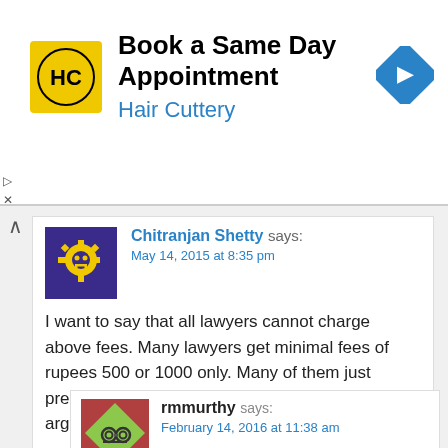[Figure (screenshot): Hair Cuttery advertisement banner with logo, text 'Book a Same Day Appointment / Hair Cuttery', and a blue navigation arrow icon]
Chitranjan Shetty says:
May 14, 2015 at 8:35 pm
I want to say that all lawyers cannot charge above fees. Many lawyers get minimal fees of rupees 500 or 1000 only. Many of them just prepare the affidavits and don't go into any arguments or fighting the case.
Reply
rmmurthy says:
February 14, 2016 at 11:38 am
All sounds good. But will any of these